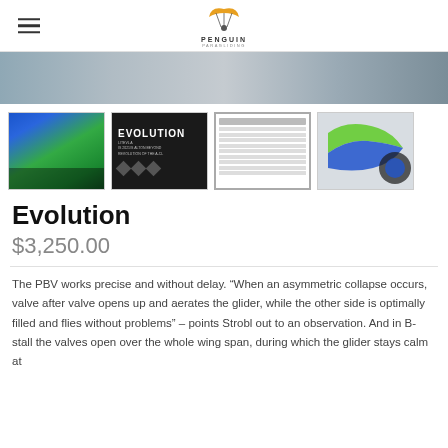PENGUIN PARAGLIDING logo with hamburger menu
[Figure (photo): Aerial beach/ocean photograph used as hero banner]
[Figure (photo): Four product thumbnail images: paraglider in flight, Evolution text card, specification table, aerodynamics diagram]
Evolution
$3,250.00
The PBV works precise and without delay. “When an asymmetric collapse occurs, valve after valve opens up and aerates the glider, while the other side is optimally filled and flies without problems” – points Strobl out to an observation. And in B-stall the valves open over the whole wing span, during which the glider stays calm at